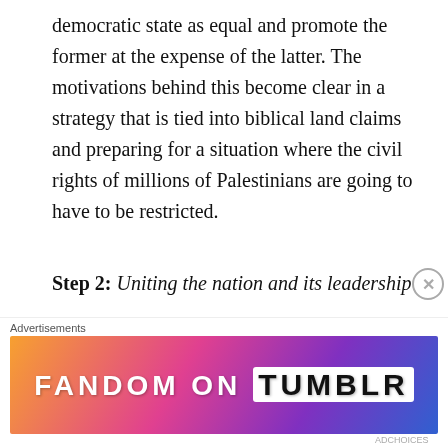democratic state as equal and promote the former at the expense of the latter. The motivations behind this become clear in a strategy that is tied into biblical land claims and preparing for a situation where the civil rights of millions of Palestinians are going to have to be restricted.
Step 2: Uniting the nation and its leadership
Throughout the coalition talks, Bennett was the peacemaker between Yair Lapid and Bibi Netanyahu and has pledged to be a leader for all of Israel, not just the settlers. His party has also taken over key ministries
[Figure (other): Advertisement banner for Fandom on Tumblr with colorful gradient background in orange, pink, purple, and blue, showing the text FANDOM ON tumblr in large white and black letters.]